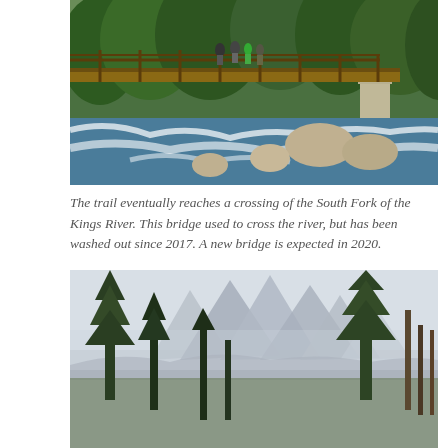[Figure (photo): A wooden bridge over the turbulent South Fork of the Kings River, surrounded by dense green trees and large boulders. People are visible on the bridge.]
The trail eventually reaches a crossing of the South Fork of the Kings River. This bridge used to cross the river, but has been washed out since 2017. A new bridge is expected in 2020.
[Figure (photo): A misty mountain landscape with tall granite peaks partially obscured by haze, framed by tall conifer trees in the foreground.]